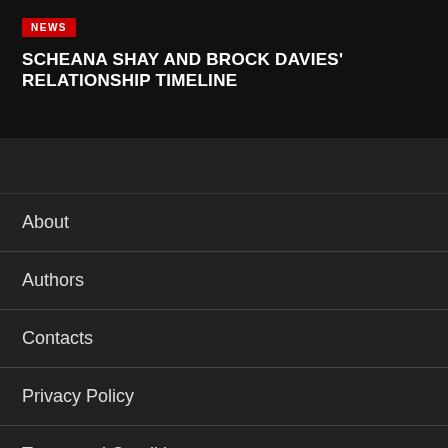[Figure (screenshot): Dark hero banner with red NEWS badge and article headline]
NEWS
SCHEANA SHAY AND BROCK DAVIES' RELATIONSHIP TIMELINE
About
Authors
Contacts
Privacy Policy
Terms and Conditions
RSS